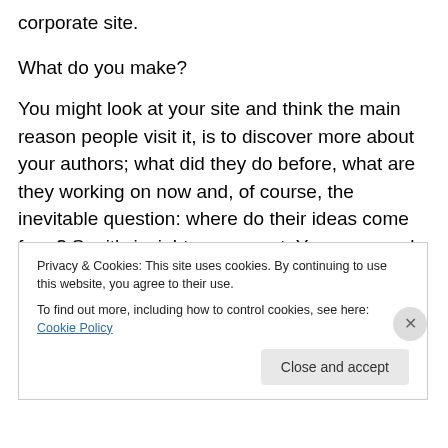corporate site.
What do you make?
You might look at your site and think the main reason people visit it, is to discover more about your authors; what did they do before, what are they working on now and, of course, the inevitable question: where do their ideas come from? So, it’s insight users want. You can supply this, you have access no-one else does, and you suggest a series interviewing authors at their writing
Privacy & Cookies: This site uses cookies. By continuing to use this website, you agree to their use.
To find out more, including how to control cookies, see here: Cookie Policy
Close and accept